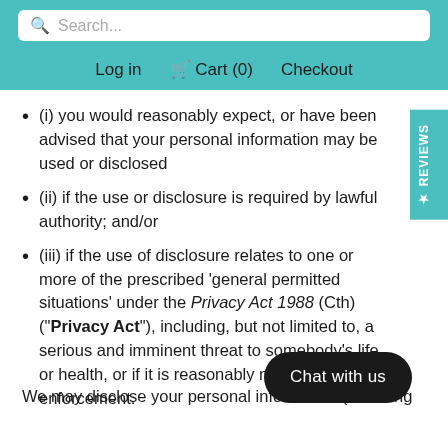Log in  Cart (0)  Checkout
(i) you would reasonably expect, or have been advised that your personal information may be used or disclosed
(ii) if the use or disclosure is required by lawful authority; and/or
(iii) if the use of disclosure relates to one or more of the prescribed 'general permitted situations' under the Privacy Act 1988 (Cth) ("Privacy Act"), including, but not limited to, a serious and imminent threat to somebody's life or health, or if it is reasonably necessary for law enforcement.
We may disclose your personal information (including